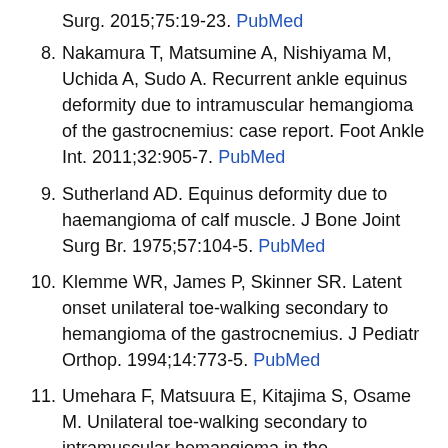Surg. 2015;75:19-23. PubMed
8. Nakamura T, Matsumine A, Nishiyama M, Uchida A, Sudo A. Recurrent ankle equinus deformity due to intramuscular hemangioma of the gastrocnemius: case report. Foot Ankle Int. 2011;32:905-7. PubMed
9. Sutherland AD. Equinus deformity due to haemangioma of calf muscle. J Bone Joint Surg Br. 1975;57:104-5. PubMed
10. Klemme WR, James P, Skinner SR. Latent onset unilateral toe-walking secondary to hemangioma of the gastrocnemius. J Pediatr Orthop. 1994;14:773-5. PubMed
11. Umehara F, Matsuura E, Kitajima S, Osame M. Unilateral toe-walking secondary to intramuscular hemangioma in the gastrocnemius. Neurology.